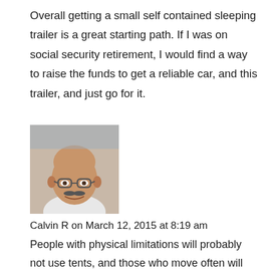Overall getting a small self contained sleeping trailer is a great starting path. If I was on social security retirement, I would find a way to raise the funds to get a reliable car, and this trailer, and just go for it.
[Figure (photo): Headshot photo of a bald older man with glasses and a mustache, smiling, wearing a white shirt.]
Calvin R on March 12, 2015 at 8:19 am
People with physical limitations will probably not use tents, and those who move often will find them inconvenient to set up and take down along with all the gear people use. For those people, the Runaways are a good option.
My “Plan A” so far is to use a minivan when I’m in urban